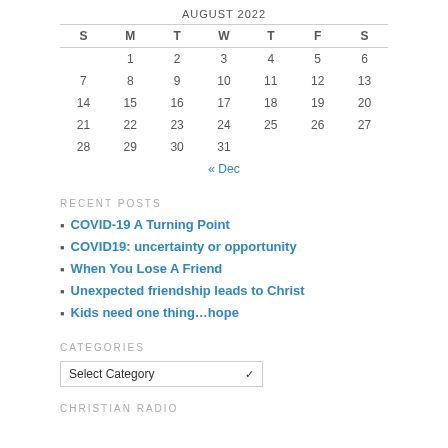AUGUST 2022
| S | M | T | W | T | F | S |
| --- | --- | --- | --- | --- | --- | --- |
|  | 1 | 2 | 3 | 4 | 5 | 6 |
| 7 | 8 | 9 | 10 | 11 | 12 | 13 |
| 14 | 15 | 16 | 17 | 18 | 19 | 20 |
| 21 | 22 | 23 | 24 | 25 | 26 | 27 |
| 28 | 29 | 30 | 31 |  |  |  |
« Dec
RECENT POSTS
COVID-19 A Turning Point
COVID19: uncertainty or opportunity
When You Lose A Friend
Unexpected friendship leads to Christ
Kids need one thing…hope
CATEGORIES
Select Category
CHRISTIAN RADIO